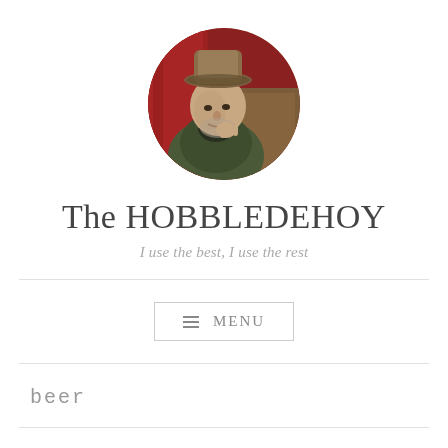[Figure (illustration): Circular avatar portrait of a person wearing a hat, painted in a classic oil painting style with warm brown and red tones, depicted in a thoughtful pose resting chin on hand.]
The HOBBLEDEHOY
I use the best, I use the rest
MENU
beer